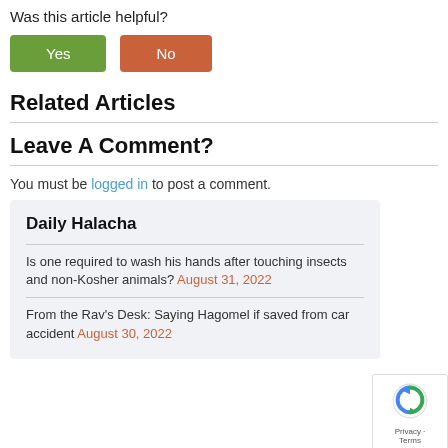Was this article helpful?
Yes   No
Related Articles
Leave A Comment?
You must be logged in to post a comment.
Daily Halacha
Is one required to wash his hands after touching insects and non-Kosher animals? August 31, 2022
From the Rav's Desk: Saying Hagomel if saved from car accident August 30, 2022